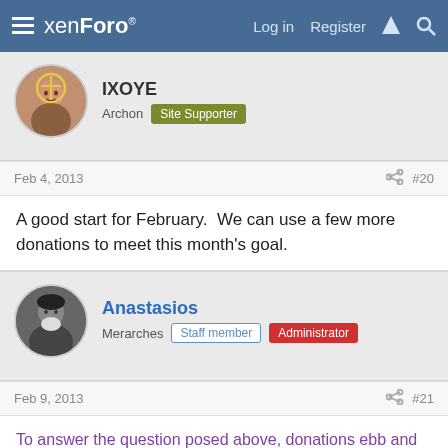xenForo — Log in  Register
IXOYE
Archon  Site Supporter
Feb 4, 2013  #20
A good start for February.  We can use a few more donations to meet this month's goal.
Anastasios
Merarches  Staff member  Administrator
Feb 9, 2013  #21
To answer the question posed above, donations ebb and flow.  Over time, we meet our goals, but sometimes we don't. When we go over in a month, it averages out the times we don't make the goal.